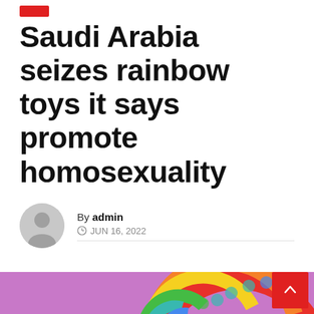Saudi Arabia seizes rainbow toys it says promote homosexuality
By admin
JUN 16, 2022
[Figure (photo): Rainbow pop-it toy on a purple/pink background, partially visible at bottom of page]